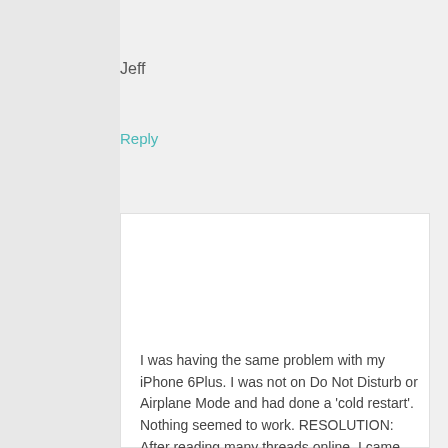Jeff
Reply
Chuck says
November 14, 2015 at 5:16 pm
I was having the same problem with my iPhone 6Plus. I was not on Do Not Disturb or Airplane Mode and had done a ‘cold restart’. Nothing seemed to work. RESOLUTION: After reading many threads online, I came across a